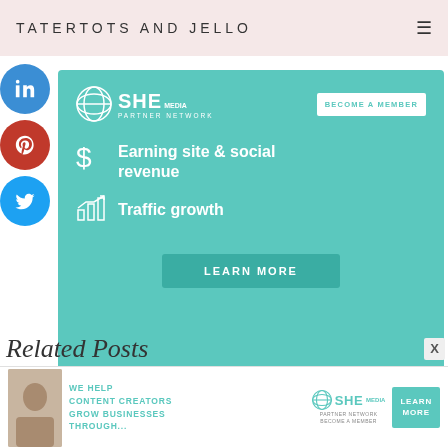TATERTOTS AND JELLO
[Figure (screenshot): Social media share buttons: LinkedIn (blue), Pinterest (red), Twitter (blue) as circular icons on left sidebar]
[Figure (infographic): SHE Media Partner Network advertisement: teal background, SHE Media logo, BECOME A MEMBER button, Earning site & social revenue, Traffic growth, LEARN MORE button]
Related Posts
[Figure (infographic): Bottom banner ad: WE HELP CONTENT CREATORS GROW BUSINESSES THROUGH... SHE Media Partner Network, LEARN MORE button]